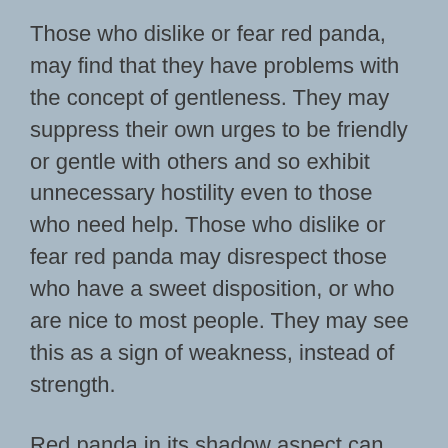Those who dislike or fear red panda, may find that they have problems with the concept of gentleness. They may suppress their own urges to be friendly or gentle with others and so exhibit unnecessary hostility even to those who need help. Those who dislike or fear red panda may disrespect those who have a sweet disposition, or who are nice to most people. They may see this as a sign of weakness, instead of strength.
Red panda in its shadow aspect can also represent a total severing from society, where solitude has caused you to become a non-contributing, and non-functioning member of society. In this case, a change challenge may come to